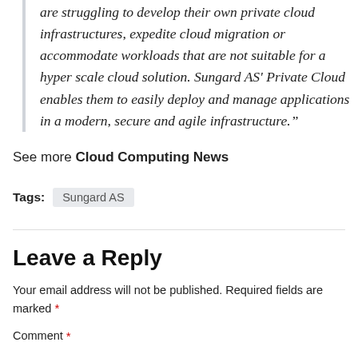are struggling to develop their own private cloud infrastructures, expedite cloud migration or accommodate workloads that are not suitable for a hyper scale cloud solution. Sungard AS' Private Cloud enables them to easily deploy and manage applications in a modern, secure and agile infrastructure.”
See more Cloud Computing News
Tags: Sungard AS
Leave a Reply
Your email address will not be published. Required fields are marked *
Comment *